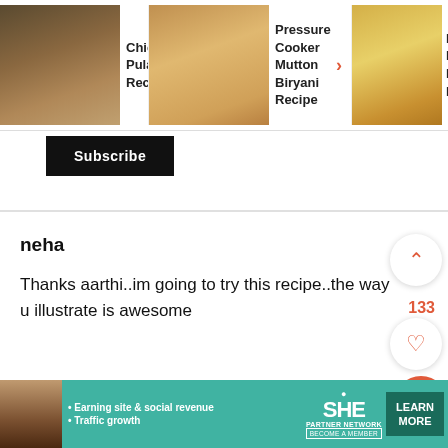[Figure (screenshot): Top navigation bar showing three recipe video thumbnails: Chicken Pulao Recipe, Pressure Cooker Mutton Biryani Recipe, and Mutton Du Biryani Re (partially visible), with a right arrow in red]
Subscribe
neha
Thanks aarthi..im going to try this recipe..the way u illustrate is awesome
133
REPLY
[Figure (screenshot): SHE Partner Network advertisement banner with text 'Earning site & social revenue', 'Traffic growth', SHE logo, and 'LEARN MORE' button]